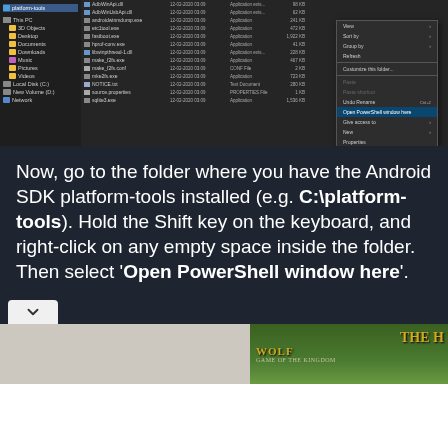[Figure (screenshot): Windows File Explorer showing platform-tools folder contents with a right-click context menu open showing options including 'Open PowerShell window here']
Now, go to the folder where you have the Android SDK platform-tools installed (e.g. C:\platform-tools). Hold the Shift key on the keyboard, and right-click on any empty space inside the folder. Then select 'Open PowerShell window here'.
[Figure (photo): Advertisement banner showing Wolf game with wolves in a field and text 'Wolf Game' and 'THE H...']